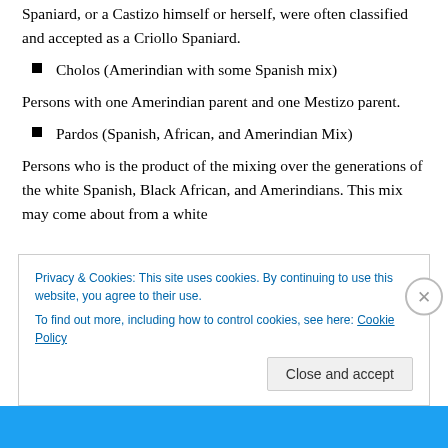Spaniard, or a Castizo himself or herself, were often classified and accepted as a Criollo Spaniard.
Cholos (Amerindian with some Spanish mix)
Persons with one Amerindian parent and one Mestizo parent.
Pardos (Spanish, African, and Amerindian Mix)
Persons who is the product of the mixing over the generations of the white Spanish, Black African, and Amerindians. This mix may come about from a white
Privacy & Cookies: This site uses cookies. By continuing to use this website, you agree to their use.
To find out more, including how to control cookies, see here: Cookie Policy
Close and accept